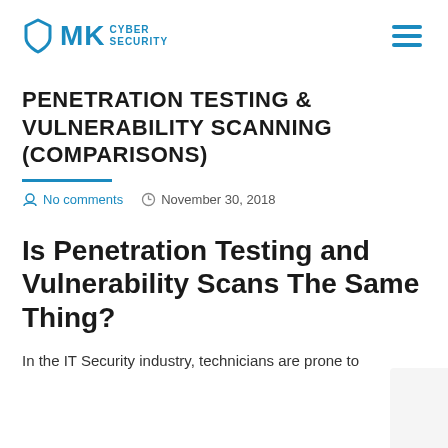MK CYBER SECURITY
PENETRATION TESTING & VULNERABILITY SCANNING (COMPARISONS)
No comments   November 30, 2018
Is Penetration Testing and Vulnerability Scans The Same Thing?
In the IT Security industry, technicians are prone to